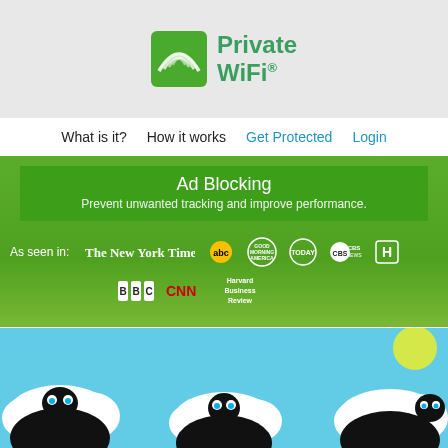[Figure (logo): Private WiFi logo with green wifi signal icon and green text 'Private WiFi®']
What is it?  How it works  Get Protected  Login
Ad Blocking
Prevent unwanted tracking and improve performance.
As seen in: The New York Times  abc  Good Morning America  TODAY  CBS NEWS  [H]  BBC  CNN  Harvard Business Review
Public WiFi signals are not encrypted.
[Figure (illustration): Cartoon sheep with black bodies and white fluffy tops peeking up from bottom of image, blue sky background, sun visible top right]